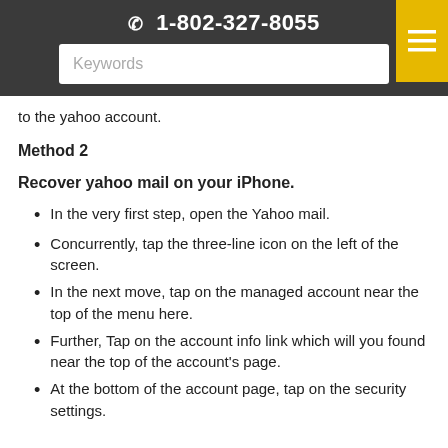1-802-327-8055
to the yahoo account.
Method 2
Recover yahoo mail on your iPhone.
In the very first step, open the Yahoo mail.
Concurrently, tap the three-line icon on the left of the screen.
In the next move, tap on the managed account near the top of the menu here.
Further, Tap on the account info link which will you found near the top of the account's page.
At the bottom of the account page, tap on the security settings.